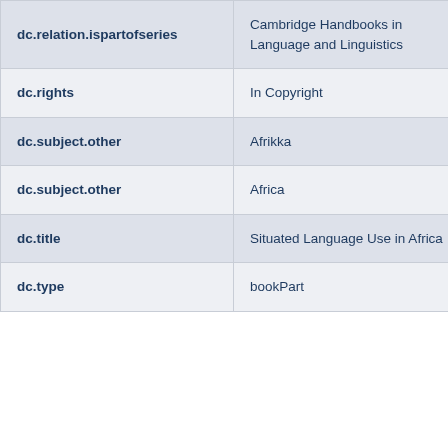| dc.relation.ispartofseries | Cambridge Handbooks in Language and Linguistics |  |
| dc.rights | In Copyright |  |
| dc.subject.other | Afrikka |  |
| dc.subject.other | Africa |  |
| dc.title | Situated Language Use in Africa |  |
| dc.type | bookPart |  |